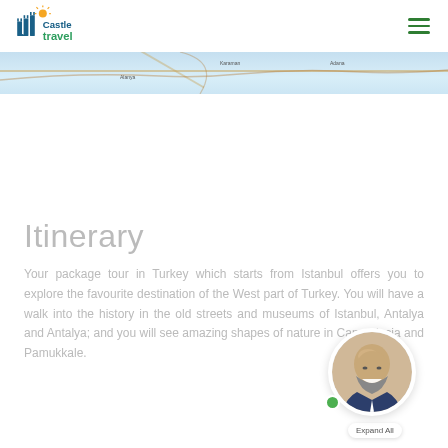Castle Travel
[Figure (map): Partial map strip showing Turkey geography with road lines and city labels including Karaman, Adana]
Itinerary
Your package tour in Turkey which starts from Istanbul offers you to explore the favourite destination of the West part of Turkey. You will have a walk into the history in the old streets and museums of Istanbul, Antalya and Antalya; and you will see amazing shapes of nature in Cappadocia and Pamukkale.
[Figure (photo): Chat widget with circular avatar photo of a smiling bald bearded man in a suit, with a green online indicator dot and an Expand All button below]